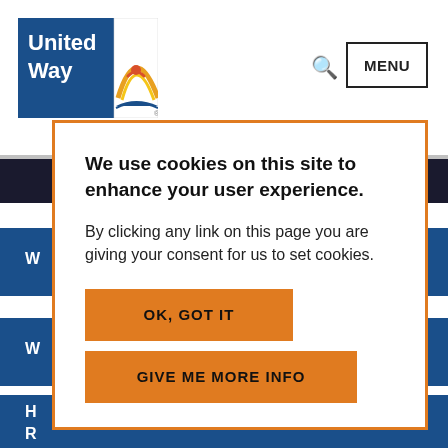[Figure (logo): United Way logo — blue rectangle with 'United Way' text in white and orange/yellow arch graphic with figure and hands]
MENU
We use cookies on this site to enhance your user experience.
By clicking any link on this page you are giving your consent for us to set cookies.
OK, GOT IT
GIVE ME MORE INFO